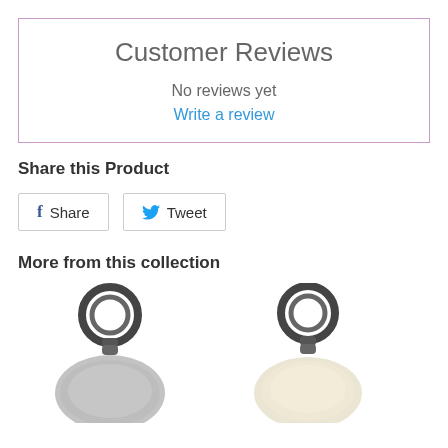Customer Reviews
No reviews yet
Write a review
Share this Product
[Figure (screenshot): Facebook Share button and Twitter Tweet button]
More from this collection
[Figure (photo): Two keychain products shown at the bottom of the page - left keychain with metal ring, right keychain with metal ring and white/cream charm]